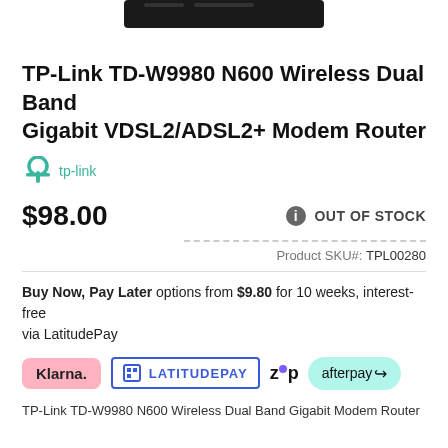[Figure (photo): Partial product image of TP-Link router/modem, showing the top edge of a dark rectangular device]
TP-Link TD-W9980 N600 Wireless Dual Band Gigabit VDSL2/ADSL2+ Modem Router
[Figure (logo): TP-Link brand logo: teal/green P symbol with 'tp-link' text]
$98.00
OUT OF STOCK
Product SKU#:  TPL00280
Buy Now, Pay Later options from $9.80 for 10 weeks, interest-free via LatitudePay
[Figure (logo): Payment method logos: Klarna, LatitudePay, Zip, Afterpay]
TP-Link TD-W9980 N600 Wireless Dual Band Gigabit Modem Router